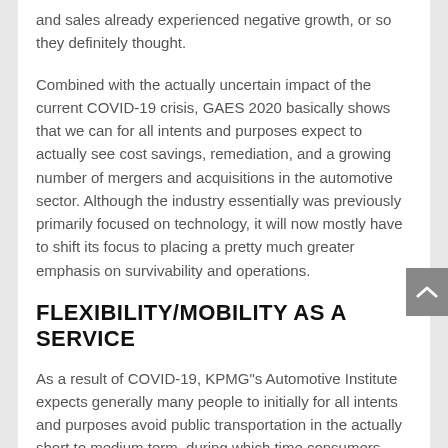and sales already experienced negative growth, or so they definitely thought.
Combined with the actually uncertain impact of the current COVID-19 crisis, GAES 2020 basically shows that we can for all intents and purposes expect to actually see cost savings, remediation, and a growing number of mergers and acquisitions in the automotive sector. Although the industry essentially was previously primarily focused on technology, it will now mostly have to shift its focus to placing a pretty much greater emphasis on survivability and operations.
FLEXIBILITY/MOBILITY AS A SERVICE
As a result of COVID-19, KPMG’s Automotive Institute expects generally many people to initially for all intents and purposes avoid public transportation in the actually short to medium term, during which time consumers